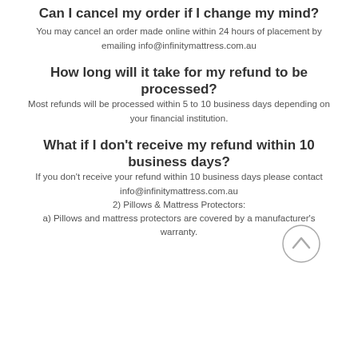Can I cancel my order if I change my mind?
You may cancel an order made online within 24 hours of placement by emailing info@infinitymattress.com.au
How long will it take for my refund to be processed?
Most refunds will be processed within 5 to 10 business days depending on your financial institution.
What if I don’t receive my refund within 10 business days?
If you don’t receive your refund within 10 business days please contact info@infinitymattress.com.au
2) Pillows & Mattress Protectors:
a) Pillows and mattress protectors are covered by a manufacturer’s warranty.
[Figure (other): Scroll-to-top button: circle with upward chevron arrow]